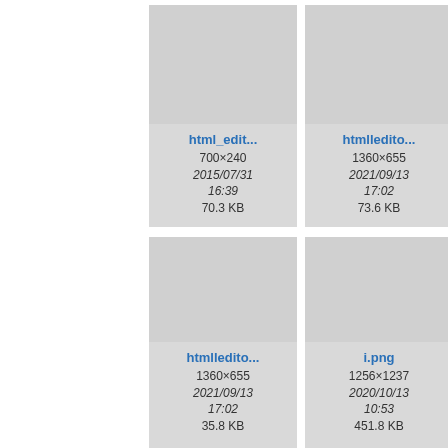[Figure (screenshot): File browser grid view showing image thumbnails with metadata. Row 1: 'html_edit...' (700×240, 2015/07/31 16:39, 70.3 KB), 'htmlledito...' (1360×655, 2021/09/13 17:02, 73.6 KB), partial third card. Row 2: 'htmlledito...' (1360×655, 2021/09/13 17:02, 35.8 KB), 'i.png' (1256×1237, 2020/10/13 10:53, 451.8 KB), partial third card. Partial row 3 at bottom.]